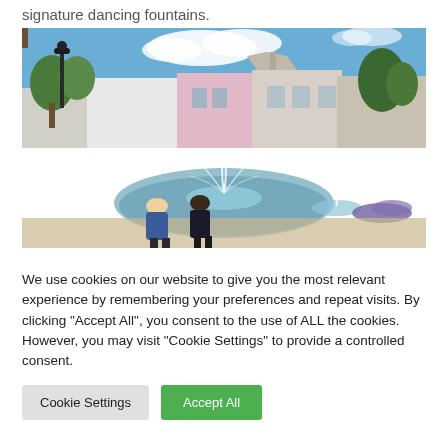signature dancing fountains.
[Figure (photo): Outdoor shopping center with dancing fountains in the foreground, retail storefronts in the background, blue sky with clouds, trees and landscaping, people viewing the fountain]
We use cookies on our website to give you the most relevant experience by remembering your preferences and repeat visits. By clicking "Accept All", you consent to the use of ALL the cookies. However, you may visit "Cookie Settings" to provide a controlled consent.
Cookie Settings | Accept All